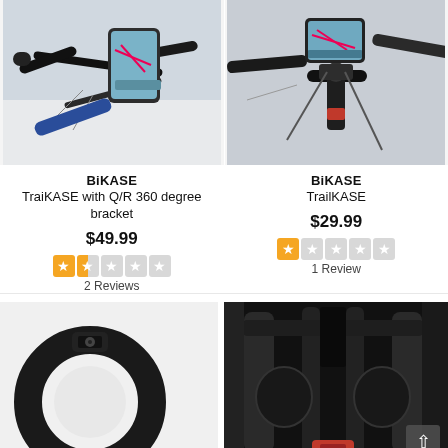[Figure (photo): Phone mounted on bicycle handlebar with map app showing, blue bike, angle view from above]
[Figure (photo): Phone mounted on bicycle handlebar with map app showing, close-up of stem mount area]
BiKASE
TraiKASE with Q/R 360 degree bracket
$49.99
[Figure (other): Star rating: 1.5 out of 5 stars (orange filled, half, then 3 grey)]
2 Reviews
BiKASE
TrailKASE
$29.99
[Figure (other): Star rating: 1 out of 5 stars (one orange, four grey)]
1 Review
[Figure (photo): Black rubber ring/clamp accessory, partial view from below]
[Figure (photo): Dark interior of a bag or carrier showing black frame and red component, back-to-top button visible bottom right]